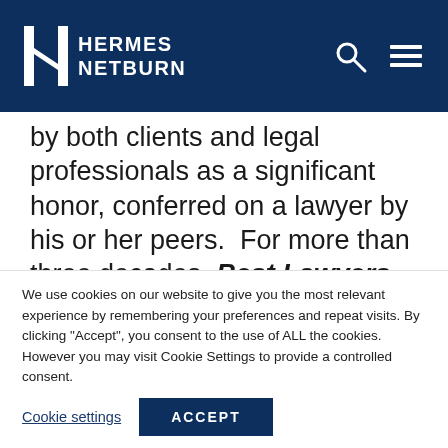HERMES NETBURN
by both clients and legal professionals as a significant honor, conferred on a lawyer by his or her peers.  For more than three decades, Best Lawyers lists have earned the respect of the profession, the media, and the public, as the most reliable, unbiased source of legal referrals anywhere.
Say hello to the class of 2021 Best Lawyers, which has been regarded as the definitive guide to legal excellence.
We use cookies on our website to give you the most relevant experience by remembering your preferences and repeat visits. By clicking "Accept", you consent to the use of ALL the cookies. However you may visit Cookie Settings to provide a controlled consent.